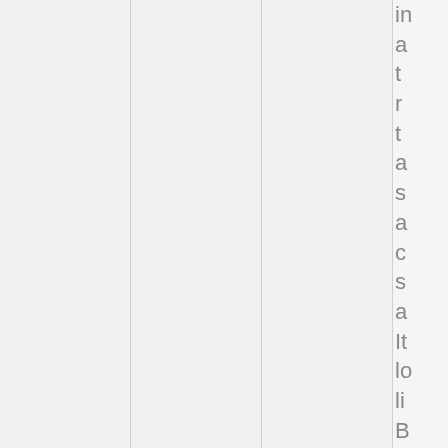in a t r t a s a c s a It lo li B b t a b n k